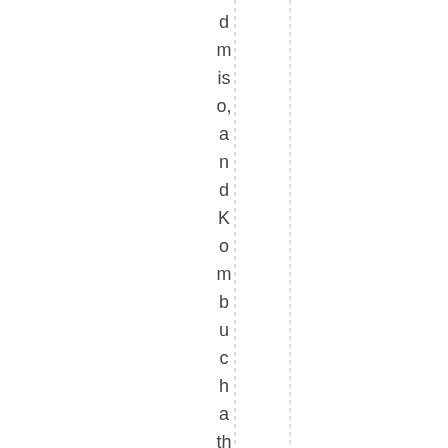d m is o, a n d K o m b u c h a th a t